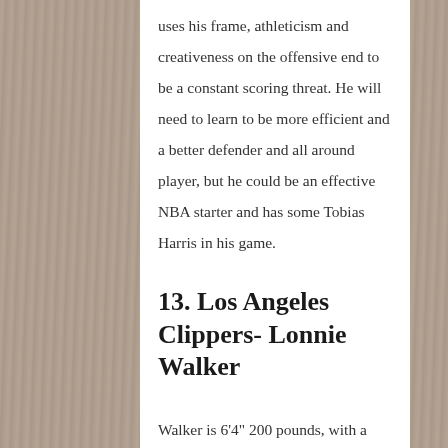uses his frame, athleticism and creativeness on the offensive end to be a constant scoring threat. He will need to learn to be more efficient and a better defender and all around player, but he could be an effective NBA starter and has some Tobias Harris in his game.
13. Los Angeles Clippers- Lonnie Walker
Walker is 6‘4” 200 pounds, with a lightning